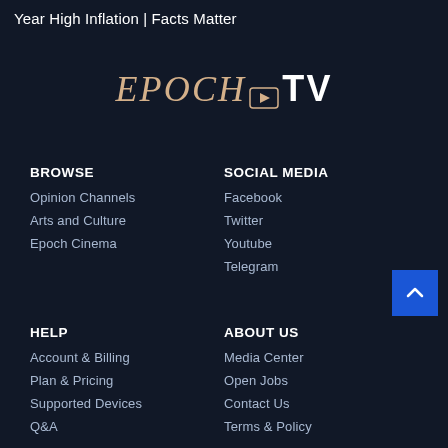Year High Inflation | Facts Matter
[Figure (logo): Epoch TV logo with stylized EPOCH text in italic serif and TV in bold sans-serif, with a play button icon between them]
BROWSE
Opinion Channels
Arts and Culture
Epoch Cinema
SOCIAL MEDIA
Facebook
Twitter
Youtube
Telegram
HELP
Account & Billing
Plan & Pricing
Supported Devices
Q&A
ABOUT US
Media Center
Open Jobs
Contact Us
Terms & Policy